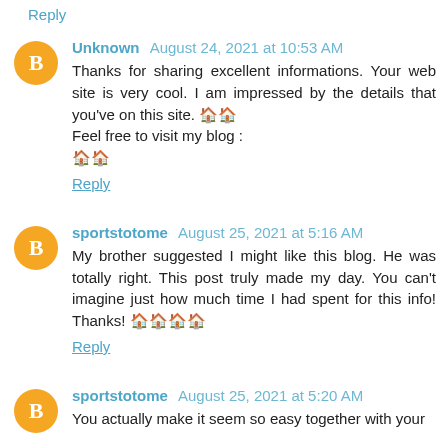Reply
Unknown  August 24, 2021 at 10:53 AM
Thanks for sharing excellent informations. Your web site is very cool. I am impressed by the details that you've on this site. 🏠🏠
Feel free to visit my blog :
🏠🏠
Reply
sportstotome  August 25, 2021 at 5:16 AM
My brother suggested I might like this blog. He was totally right. This post truly made my day. You can't imagine just how much time I had spent for this info! Thanks! 🏠🏠🏠🏠
Reply
sportstotome  August 25, 2021 at 5:20 AM
You actually make it seem so easy together with your